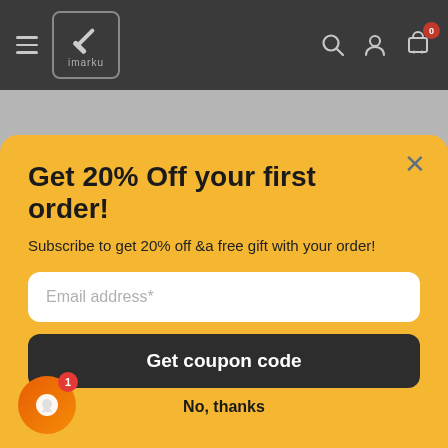[Figure (screenshot): imarku e-commerce website navigation bar with hamburger menu, imarku knife logo, search icon, account icon, and cart icon with 0 badge]
Get 20% Off your first order!
Subscribe to get 20% off &a free gift with your order!
Email address*
Get coupon code
No, thanks